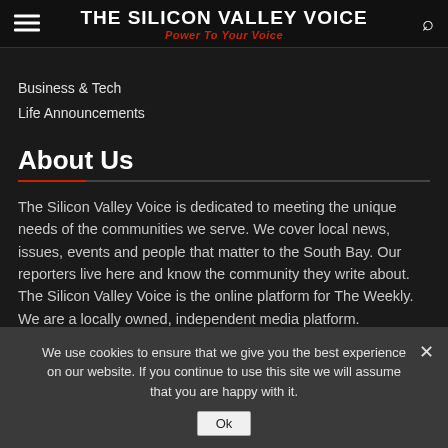THE SILICON VALLEY VOICE — Power To Your Voice
Business & Tech
Life Announcements
About Us
The Silicon Valley Voice is dedicated to meeting the unique needs of the communities we serve. We cover local news, issues, events and people that matter to the South Bay. Our reporters live here and know the community they write about. The Silicon Valley Voice is the online platform for The Weekly. We are a locally owned, independent media platform.
We use cookies to ensure that we give you the best experience on our website. If you continue to use this site we will assume that you are happy with it.